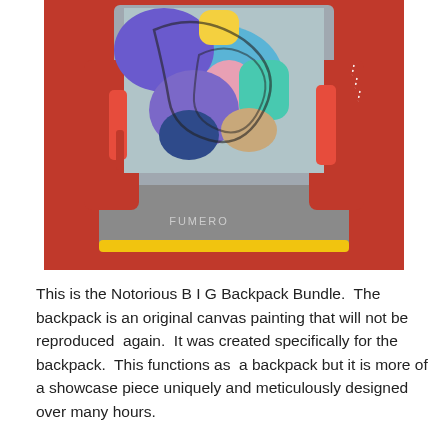[Figure (photo): A colorful painted backpack featuring a vibrant abstract/portrait canvas painting with red, blue, yellow, pink, and gray colors. The backpack has yellow trim on the bottom and the brand name 'FUMERO' is visible on the gray lower panel. The backpack is photographed against a red background.]
This is the Notorious B I G Backpack Bundle.  The backpack is an original canvas painting that will not be reproduced  again.  It was created specifically for the backpack.  This functions as  a backpack but it is more of a showcase piece uniquely and meticulously designed over many hours.